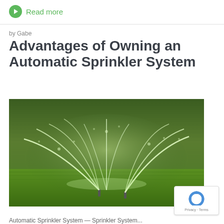Read more
by Gabe
Advantages of Owning an Automatic Sprinkler System
[Figure (photo): Automatic sprinkler system spraying water over a green lawn, multiple sprinkler heads visible with water arcing across the grass in daylight]
Automatic Sprinkler System Sprinkler System...